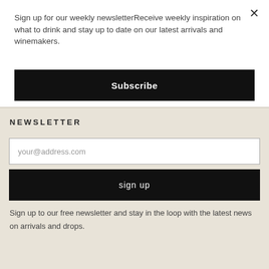Sign up for our weekly newsletterReceive weekly inspiration on what to drink and stay up to date on our latest arrivals and winemakers.
Subscribe
NEWSLETTER
your@address.com
sign up
Sign up to our free newsletter and stay in the loop with the latest news on arrivals and drops.